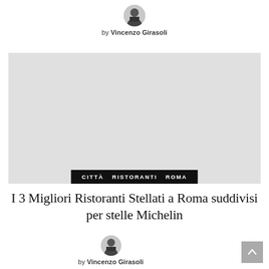by Vincenzo Girasoli
[Figure (photo): Light gray placeholder image with black tag bar at bottom showing CITTÀ RISTORANTI ROMA]
I 3 Migliori Ristoranti Stellati a Roma suddivisi per stelle Michelin
by Vincenzo Girasoli